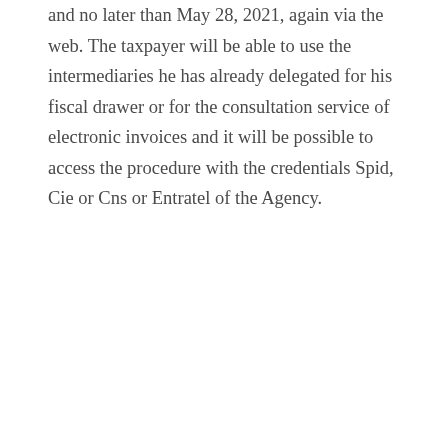and no later than May 28, 2021, again via the web. The taxpayer will be able to use the intermediaries he has already delegated for his fiscal drawer or for the consultation service of electronic invoices and it will be possible to access the procedure with the credentials Spid, Cie or Cns or Entratel of the Agency.